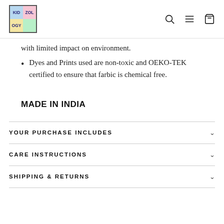KIDZOLOGY
with limited impact on environment.
Dyes and Prints used are non-toxic and OEKO-TEK certified to ensure that farbic is chemical free.
MADE IN INDIA
YOUR PURCHASE INCLUDES
CARE INSTRUCTIONS
SHIPPING & RETURNS